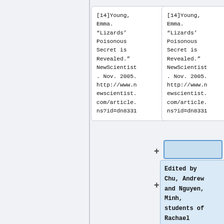[14]Young, Emma. “Lizards’ Poisonous Secret is Revealed.” NewScientist. Nov. 2005. http://www.newscientist.com/article.ns?id=dn8331
[14]Young, Emma. “Lizards’ Poisonous Secret is Revealed.” NewScientist. Nov. 2005. http://www.newscientist.com/article.ns?id=dn8331
Edited by Chu, Andrew and Nguyen, Minh, students of Rachael Larson.